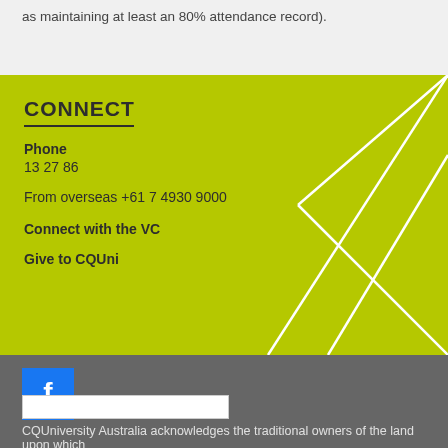as maintaining at least an 80% attendance record).
CONNECT
Phone
13 27 86
From overseas +61 7 4930 9000
Connect with the VC
Give to CQUni
[Figure (logo): Facebook logo icon — blue square with white letter f]
CQUniversity Australia acknowledges the traditional owners of the land upon which